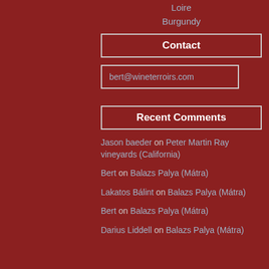Loire
Burgundy
Contact
bert@wineterroirs.com
Recent Comments
Jason baeder on Peter Martin Ray vineyards (California)
Bert on Balazs Palya (Mátra)
Lakatos Bálint on Balazs Palya (Mátra)
Bert on Balazs Palya (Mátra)
Darius Liddell on Balazs Palya (Mátra)